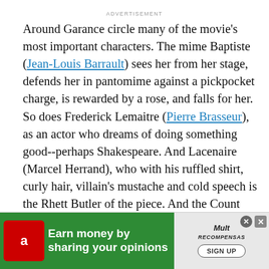ADVERTISEMENT
Around Garance circle many of the movie's most important characters. The mime Baptiste (Jean-Louis Barrault) sees her from her stage, defends her in pantomime against a pickpocket charge, is rewarded by a rose, and falls for her. So does Frederick Lemaitre (Pierre Brasseur), as an actor who dreams of doing something good--perhaps Shakespeare. And Lacenaire (Marcel Herrand), who with his ruffled shirt, curly hair, villain's mustache and cold speech is the Rhett Butler of the piece. And the Count Edouard de Montray (Louis Salou), who thinks he has brought her but discovers he was only renting.
[Figure (other): Advertisement banner: green background with 'Earn money by sharing your opinions' text and SIGN UP button, featuring an Amazon-style icon on the left and a logo on the right.]